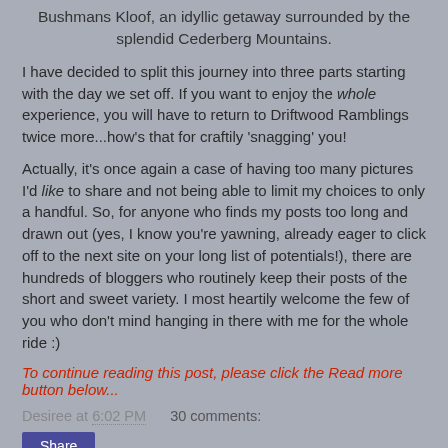Bushmans Kloof, an idyllic getaway surrounded by the splendid Cederberg Mountains.
I have decided to split this journey into three parts starting with the day we set off. If you want to enjoy the whole experience, you will have to return to Driftwood Ramblings twice more...how's that for craftily 'snagging' you!
Actually, it's once again a case of having too many pictures I'd like to share and not being able to limit my choices to only a handful. So, for anyone who finds my posts too long and drawn out (yes, I know you're yawning, already eager to click off to the next site on your long list of potentials!), there are hundreds of bloggers who routinely keep their posts of the short and sweet variety. I most heartily welcome the few of you who don't mind hanging in there with me for the whole ride :)
To continue reading this post, please click the Read more button below...
Desiree at 6:02 PM    30 comments:
Share